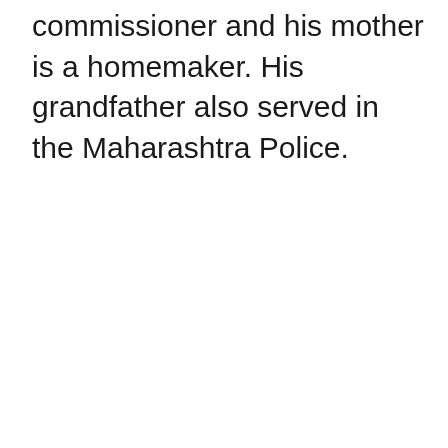commissioner and his mother is a homemaker. His grandfather also served in the Maharashtra Police.